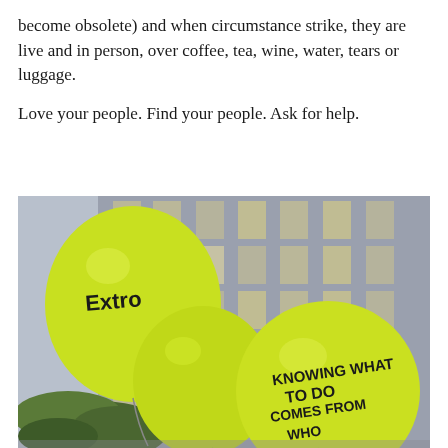become obsolete) and when circumstance strike, they are live and in person, over coffee, tea, wine, water, tears or luggage.
Love your people. Find your people. Ask for help.
[Figure (photo): Three yellow-green balloons against a building facade. The left balloon has text 'Extro' (partially visible). The right balloon has text 'KNOWING WHAT TO DO COMES FROM WHO' written on it in black marker.]